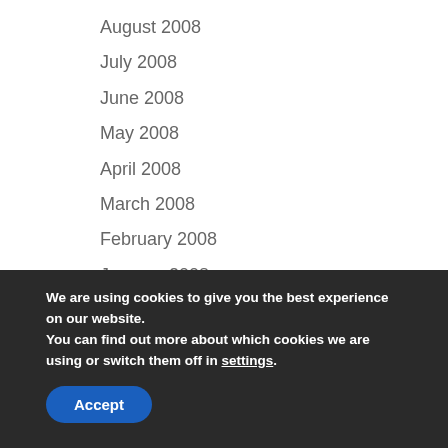August 2008
July 2008
June 2008
May 2008
April 2008
March 2008
February 2008
January 2008
December 2007
November 2007
We are using cookies to give you the best experience on our website.
You can find out more about which cookies we are using or switch them off in settings.
Accept